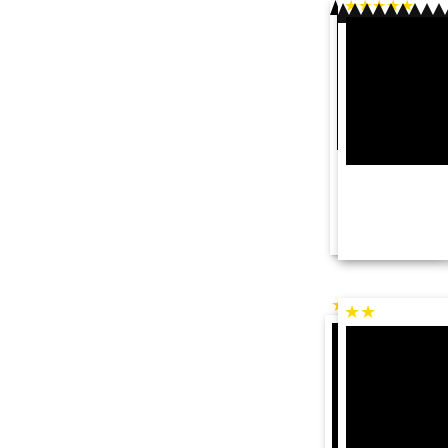[Figure (photo): Four polaroid-style photo cards arranged vertically on the right side of the page. Each card has a black photo area and gold star ratings above the photo area. Card 1 (top): 4-5 stars, Card 2: 2 stars, Card 3: 4 stars, Card 4 (partial at bottom): 3 stars.]
[Figure (photo): Second polaroid card with 2 gold stars]
[Figure (photo): Third polaroid card with 4 gold stars]
[Figure (photo): Fourth polaroid card (partial) with 3 gold stars]